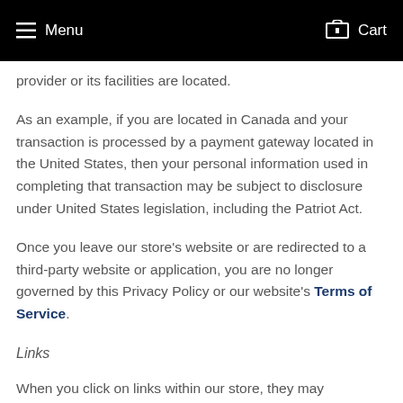Menu   Cart
provider or its facilities are located.
As an example, if you are located in Canada and your transaction is processed by a payment gateway located in the United States, then your personal information used in completing that transaction may be subject to disclosure under United States legislation, including the Patriot Act.
Once you leave our store's website or are redirected to a third-party website or application, you are no longer governed by this Privacy Policy or our website's Terms of Service.
Links
When you click on links within our store, they may